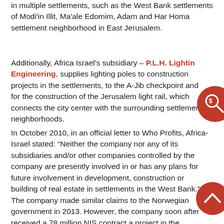in multiple settlements, such as the West Bank settlements of Modi'in Illit, Ma'ale Edomim, Adam and Har Homa settlement neighborhood in East Jerusalem.
Additionally, Africa Israel's subsidiary – P.L.H. Lighting Engineering, supplies lighting poles to construction projects in the settlements, to the A-Jib checkpoint and for the construction of the Jerusalem light rail, which connects the city center with the surrounding settlement neighborhoods.
In October 2010, in an official letter to Who Profits, Africa-Israel stated: “Neither the company nor any of its subsidiaries and/or other companies controlled by the company are presently involved in or has any plans for future involvement in development, construction or building of real estate in settlements in the West Bank.” The company made similar claims to the Norwegian government in 2013. However, the company soon after received a 78 million NIS contract a project in the settlement neighborhood of Gilo in
[Figure (other): Red circular icon with a magnifying glass and dollar sign symbol]
[Figure (other): Red circular icon with an upward chevron/arrow symbol for scrolling to top]